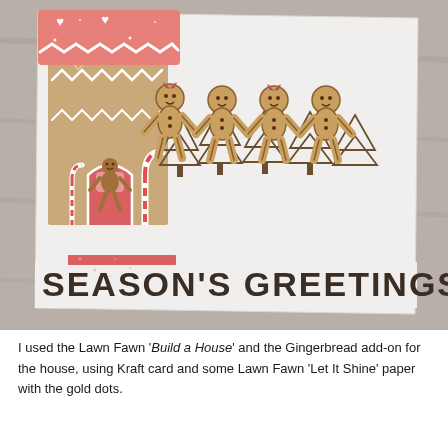[Figure (photo): A close-up photograph of a handmade Christmas card featuring a gingerbread house on the left (Kraft card with pink/coral roof, red door, candy canes) and a row of gingerbread people figures with triangular tree outlines behind them. The card reads 'SEASON'S GREETINGS' in large bold letters. The card is photographed on a light wooden surface.]
I used the Lawn Fawn 'Build a House' and the Gingerbread add-on for the house, using Kraft card and some Lawn Fawn 'Let It Shine' paper with the gold dots.